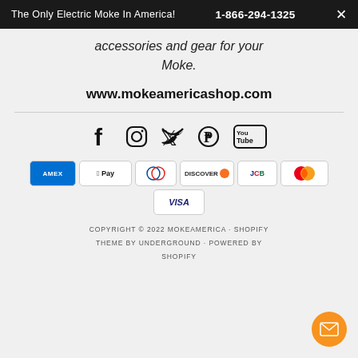The Only Electric Moke In America! 1-866-294-1325
accessories and gear for your Moke.
www.mokeamericashop.com
[Figure (other): Social media icons: Facebook, Instagram, Twitter, Pinterest, YouTube]
[Figure (other): Payment method icons: American Express, Apple Pay, Diners Club, Discover, JCB, Mastercard, Visa]
COPYRIGHT © 2022 MOKEAMERICA · SHOPIFY THEME BY UNDERGROUND · POWERED BY SHOPIFY